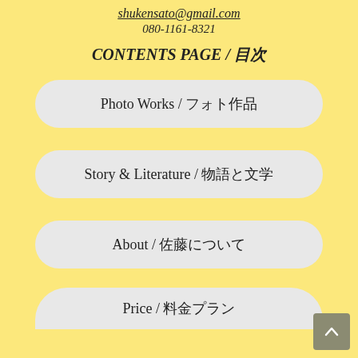shukensato@gmail.com
080-1161-8321
CONTENTS PAGE / 目次
Photo Works / フォト作品
Story & Literature / 物語と文学
About / 佐藤について
Price / 料金プラン